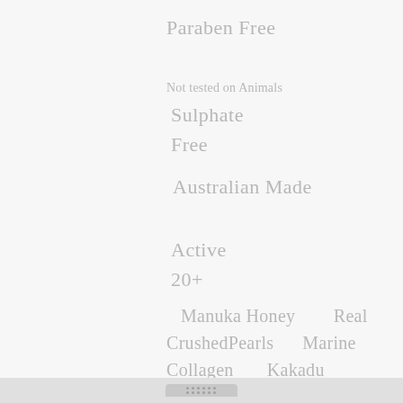Paraben Free
Not tested on Animals
Sulphate
Free
Australian Made
Active
20+
Manuka Honey       Real CrushedPearls       Marine Collagen       Kakadu Plum       Botanical Extracts